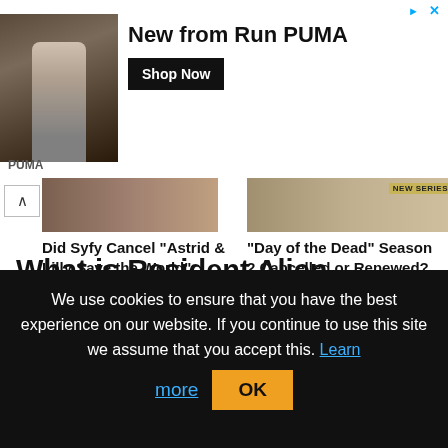[Figure (screenshot): Advertisement banner for PUMA Run featuring a woman in athletic wear with text 'New from Run PUMA' and a 'Shop Now' button]
[Figure (screenshot): Two article cards: 'Did Syfy Cancel Astrid & Lilly Save the World Season 2? 2022 Date' and 'Day of the Dead Season 2 Cancelled or Renewed? Syfy Release Date']
What is Resident Alien about?
Spoiler Alert! This article includes spoilers for
We use cookies to ensure that you have the best experience on our website. If you continue to use this site we assume that you accept this. Learn more OK